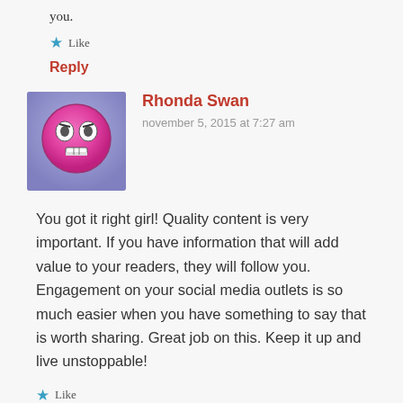you.
★ Like
Reply
[Figure (illustration): Pink smiley face avatar with a puzzled/skeptical expression on a purple-blue gradient background square]
Rhonda Swan
november 5, 2015 at 7:27 am
You got it right girl! Quality content is very important. If you have information that will add value to your readers, they will follow you. Engagement on your social media outlets is so much easier when you have something to say that is worth sharing. Great job on this. Keep it up and live unstoppable!
★ Like